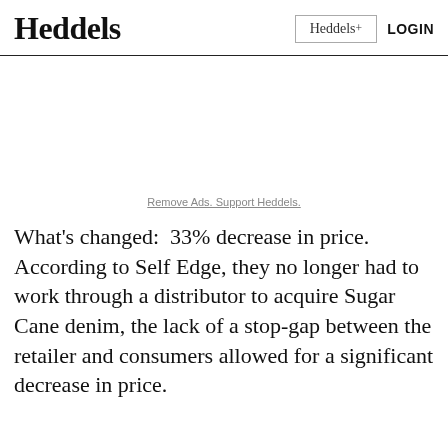Heddels
Remove Ads. Support Heddels.
What's changed:  33% decrease in price. According to Self Edge, they no longer had to work through a distributor to acquire Sugar Cane denim, the lack of a stop-gap between the retailer and consumers allowed for a significant decrease in price.